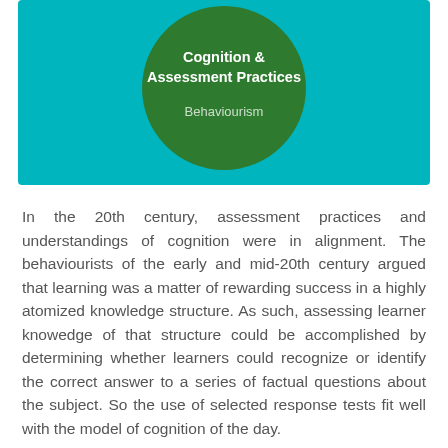[Figure (infographic): Teal rectangular background with a dark green circle in the center. Inside the circle: bold white text 'Cognition & Assessment Practices' at top, and lighter white text 'Behaviourism' below.]
In the 20th century, assessment practices and understandings of cognition were in alignment. The behaviourists of the early and mid-20th century argued that learning was a matter of rewarding success in a highly atomized knowledge structure. As such, assessing learner knowedge of that structure could be accomplished by determining whether learners could recognize or identify the correct answer to a series of factual questions about the subject. So the use of selected response tests fit well with the model of cognition of the day.